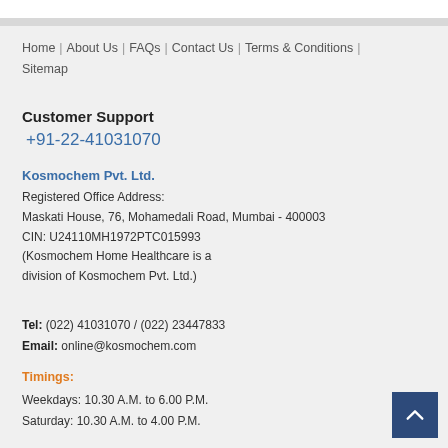Home | About Us | FAQs | Contact Us | Terms & Conditions | Sitemap
Customer Support
+91-22-41031070
Kosmochem Pvt. Ltd.
Registered Office Address:
Maskati House, 76, Mohamedali Road, Mumbai - 400003
CIN: U24110MH1972PTC015993
(Kosmochem Home Healthcare is a division of Kosmochem Pvt. Ltd.)
Tel: (022) 41031070 / (022) 23447833
Email: online@kosmochem.com
Timings:
Weekdays: 10.30 A.M. to 6.00 P.M.
Saturday: 10.30 A.M. to 4.00 P.M.